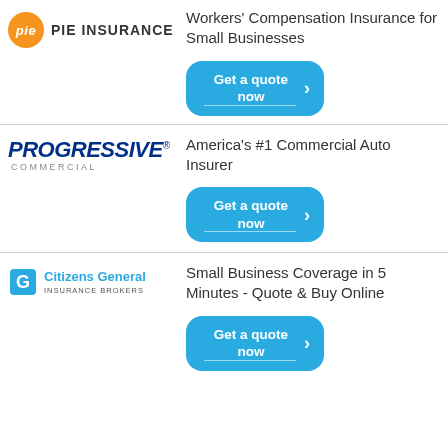[Figure (logo): Pie Insurance logo: orange circle with 'pie' text and 'PIE INSURANCE' name]
Workers' Compensation Insurance for Small Businesses
[Figure (other): Get a quote now button (blue rounded rectangle with arrow)]
[Figure (logo): Progressive Commercial logo in dark blue italic bold text]
America's #1 Commercial Auto Insurer
[Figure (other): Get a quote now button (blue rounded rectangle with arrow)]
[Figure (logo): Citizens General Insurance Brokers logo]
Small Business Coverage in 5 Minutes - Quote & Buy Online
[Figure (other): Get a quote now button (blue rounded rectangle with arrow)]